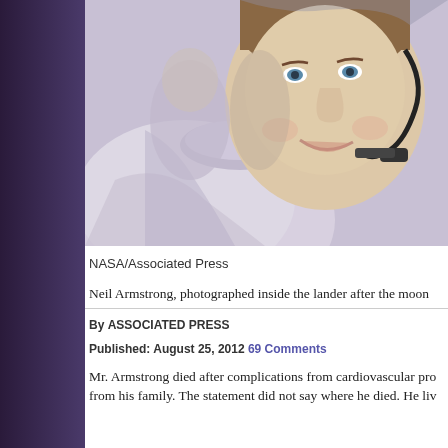[Figure (photo): Neil Armstrong photographed inside the lunar lander after the moonwalk, wearing a white spacesuit and headset microphone, smiling]
NASA/Associated Press
Neil Armstrong, photographed inside the lander after the moon
By ASSOCIATED PRESS
Published: August 25, 2012  69 Comments
Mr. Armstrong died after complications from cardiovascular pro from his family. The statement did not say where he died. He liv